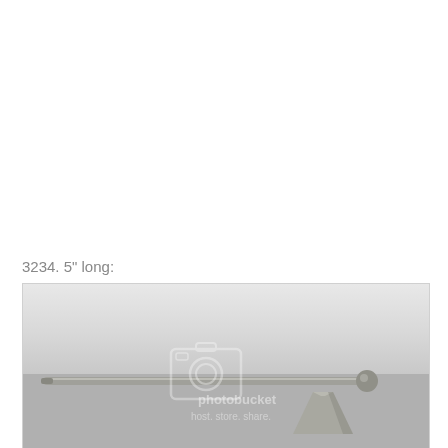3234. 5" long:
[Figure (photo): A photograph of a metal tool or instrument approximately 5 inches long, consisting of a thin cylindrical rod with a rounded ball end and a cone-shaped bell or cup attachment near the ball end. The object appears to be silver/pewter colored metal. The image has a Photobucket watermark overlay.]